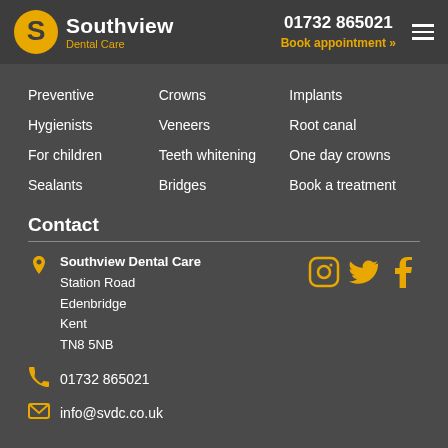[Figure (logo): Southview Dental Care logo with golden S icon and text]
01732 865021
Book appointment »
Preventive
Hygienists
For children
Sealants
Crowns
Veneers
Teeth whitening
Bridges
Implants
Root canal
One day crowns
Book a treatment
Contact
Southview Dental Care
Station Road
Edenbridge
Kent
TN8 5NB
01732 865021
info@svdc.co.uk